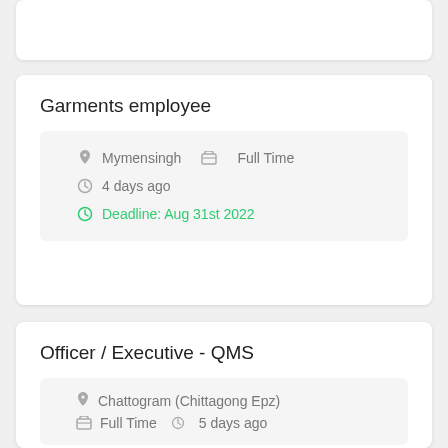Garments employee
Mymensingh   Full Time   4 days ago   Deadline: Aug 31st 2022
Officer / Executive - QMS
Chattogram (Chittagong Epz)   Full Time   5 days ago